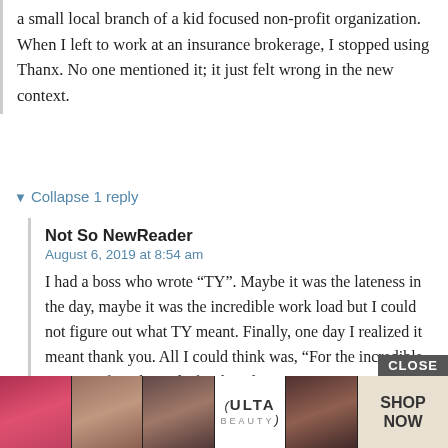a small local branch of a kid focused non-profit organization. When I left to work at an insurance brokerage, I stopped using Thanx. No one mentioned it; it just felt wrong in the new context.
▼ Collapse 1 reply
Not So NewReader
August 6, 2019 at 8:54 am
I had a boss who wrote “TY”. Maybe it was the lateness in the day, maybe it was the incredible work load but I could not figure out what TY meant. Finally, one day I realized it meant thank you. All I could think was, “For the incredible amount of work we do for this place, you cannot even right out the words “thank you”? Yet...sed “sy...to
[Figure (advertisement): Ulta Beauty advertisement showing close-up images of lips, makeup brush, eyes, Ulta logo, and more eyes, with SHOP NOW button and CLOSE button]